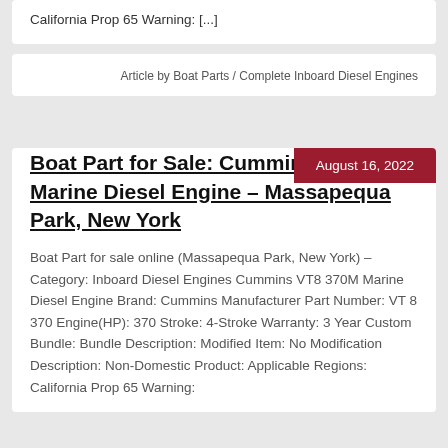California Prop 65 Warning: [...]
Article by Boat Parts / Complete Inboard Diesel Engines
August 16, 2022
Boat Part for Sale: Cummins VT8 370M Marine Diesel Engine – Massapequa Park, New York
Boat Part for sale online (Massapequa Park, New York) – Category: Inboard Diesel Engines Cummins VT8 370M Marine Diesel Engine Brand: Cummins Manufacturer Part Number: VT 8 370 Engine(HP): 370 Stroke: 4-Stroke Warranty: 3 Year Custom Bundle: Bundle Description: Modified Item: No Modification Description: Non-Domestic Product: Applicable Regions: California Prop 65 Warning: